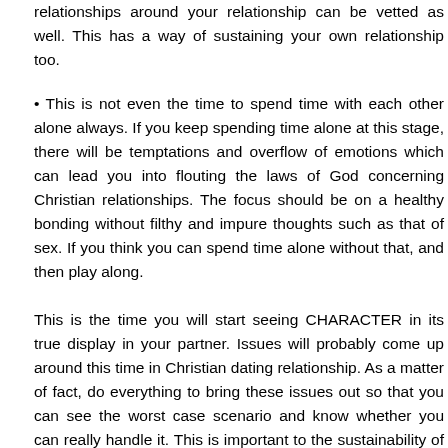relationships around your relationship can be vetted as well. This has a way of sustaining your own relationship too.
• This is not even the time to spend time with each other alone always. If you keep spending time alone at this stage, there will be temptations and overflow of emotions which can lead you into flouting the laws of God concerning Christian relationships. The focus should be on a healthy bonding without filthy and impure thoughts such as that of sex. If you think you can spend time alone without that, and then play along.
This is the time you will start seeing CHARACTER in its true display in your partner. Issues will probably come up around this time in Christian dating relationship. As a matter of fact, do everything to bring these issues out so that you can see the worst case scenario and know whether you can really handle it. This is important to the sustainability of your relationship